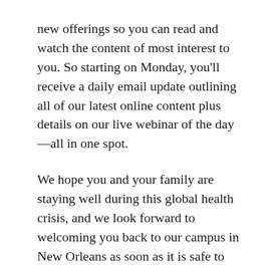new offerings so you can read and watch the content of most interest to you. So starting on Monday, you'll receive a daily email update outlining all of our latest online content plus details on our live webinar of the day—all in one spot.
We hope you and your family are staying well during this global health crisis, and we look forward to welcoming you back to our campus in New Orleans as soon as it is safe to do so. But in the meantime, we look forward to engaging with you online in the months ahead as we remember the everyday men and women who did their part to help secure victory in World War II — and